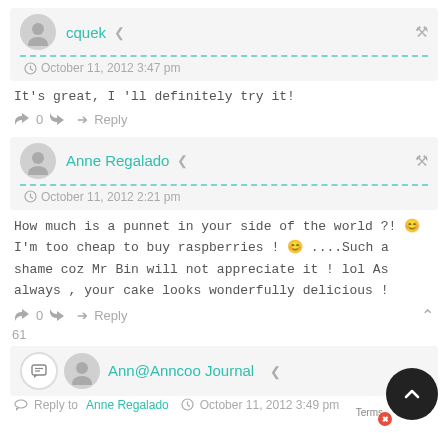cquek
October 11, 2012 3:47 pm
It's great, I 'll definitely try it!
0   Reply
Anne Regalado
October 11, 2012 2:21 pm
How much is a punnet in your side of the world ?! 😊 I'm too cheap to buy raspberries ! 😊 ....Such a shame coz Mr Bin will not appreciate it ! lol As always , your cake looks wonderfully delicious !
0   Reply
61
Ann@Anncoo Journal
Reply to Anne Regalado   October 11, 2012 3:49 pm